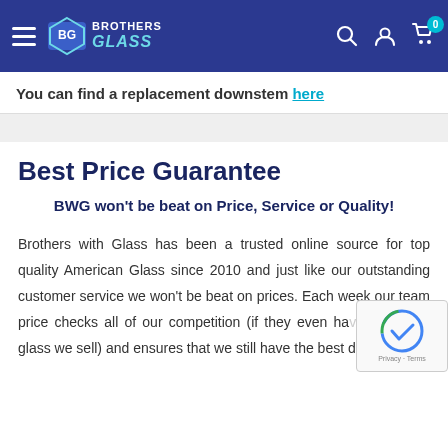Brothers with Glass - Navigation header with logo, search, account and cart icons
You can find a replacement downstem here
Best Price Guarantee
BWG won't be beat on Price, Service or Quality!
Brothers with Glass has been a trusted online source for top quality American Glass since 2010 and just like our outstanding customer service we won't be beat on prices. Each week our team price checks all of our competition (if they even ha… glass we sell) and ensures that we still have the best de… online!